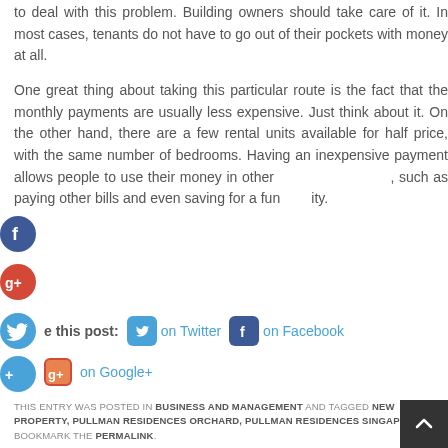to deal with this problem. Building owners should take care of it. In most cases, tenants do not have to go out of their pockets with money at all.
One great thing about taking this particular route is the fact that the monthly payments are usually less expensive. Just think about it. On the other hand, there are a few rental units available for half price, with the same number of bedrooms. Having an inexpensive payment allows people to use their money in other ways, such as paying other bills and even saving for a fun activity.
Share this post: on Twitter on Facebook on Google+
THIS ENTRY WAS POSTED IN BUSINESS AND MANAGEMENT AND TAGGED NEW PROPERTY, PULLMAN RESIDENCES ORCHARD, PULLMAN RESIDENCES SINGAPORE. BOOKMARK THE PERMALINK.